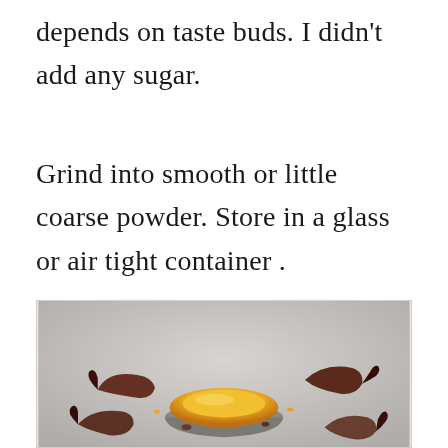depends on taste buds. I didn't add any sugar.
Grind into smooth or little coarse powder. Store in a glass or air tight container .
[Figure (photo): A photo showing a small bowl or container with yellow-orange spice powder (likely turmeric or a spice blend), with dried red chili peppers and other whole spices scattered around it, on a light gray background.]